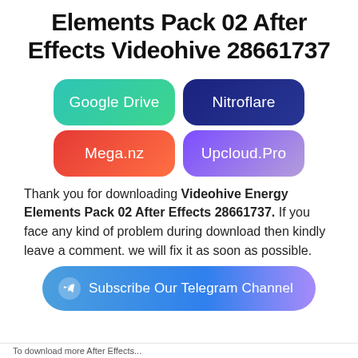Elements Pack 02 After Effects Videohive 28661737
[Figure (infographic): Four rounded rectangle buttons in two rows: Google Drive (teal/green gradient), Nitroflare (dark navy blue), Mega.nz (red/orange gradient), Upcloud.Pro (purple gradient)]
Thank you for downloading Videohive Energy Elements Pack 02 After Effects 28661737. If you face any kind of problem during download then kindly leave a comment. we will fix it as soon as possible.
[Figure (infographic): Blue gradient rounded button with Telegram paper plane icon and text: Subscribe Our Telegram Channel]
To download more After Effects...